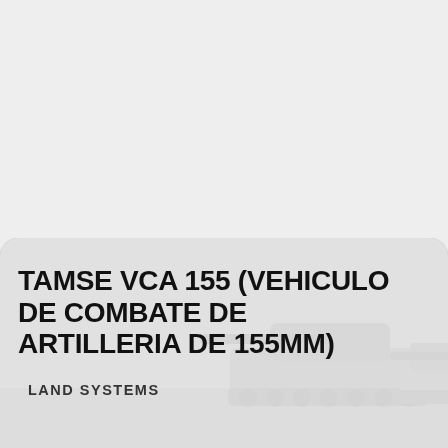[Figure (photo): A military self-propelled artillery vehicle (tank-like) shown in a muted grey/olive tone, partially visible in the lower right portion of the image. The photo is overlaid with a semi-transparent light panel.]
TAMSE VCA 155 (VEHICULO DE COMBATE DE ARTILLERIA DE 155MM)
LAND SYSTEMS